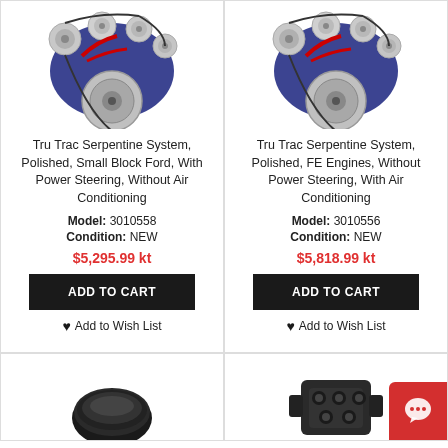[Figure (photo): Tru Trac Serpentine System engine component, polished, top view]
Tru Trac Serpentine System, Polished, Small Block Ford, With Power Steering, Without Air Conditioning
Model: 3010558
Condition: NEW
$5,295.99 kt
ADD TO CART
Add to Wish List
[Figure (photo): Tru Trac Serpentine System engine component, polished, top view]
Tru Trac Serpentine System, Polished, FE Engines, Without Power Steering, With Air Conditioning
Model: 3010556
Condition: NEW
$5,818.99 kt
ADD TO CART
Add to Wish List
[Figure (photo): Small round engine part, dark/black, bottom of page left]
[Figure (photo): Engine component, dark metal, bottom of page right]